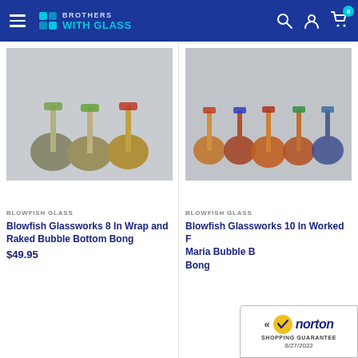Brothers with Glass - navigation header with search, account, and cart icons
[Figure (photo): Three colorful Blowfish-style bubble bottom bongs with spherical bases on white/grey background]
BLOWFISH GLASS
Blowfish Glassworks 8 In Wrap and Raked Bubble Bottom Bong
$49.95
[Figure (photo): Five colorful Blowfish Glassworks worked bubble bottom bongs in a row on grey background]
BLOWFISH GLASS
Blowfish Glassworks 10 In Worked Fumed Maria Bubble Bottom Bong
[Figure (logo): Norton Shopping Guarantee badge with yellow checkmark, dated 8/27/2022]